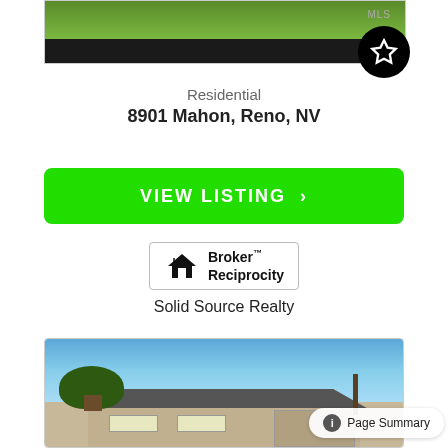[Figure (photo): Partial top photo of a property showing green lawn/grass area with MLS label, partially cropped]
Residential
8901 Mahon, Reno, NV
VIEW LISTING >
[Figure (logo): Broker Reciprocity logo showing a house icon with text 'Broker Reciprocity']
Solid Source Realty
[Figure (photo): Photo of a single-story residential home with blue sky, tree in foreground, garage visible on right side]
Page Summary